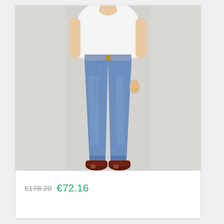[Figure (photo): A woman wearing blue slim/straight-leg jeans with a white t-shirt tucked in, and dark brown leather penny loafers. She is posed against a light grey/white background, showing the jeans from waist to ankle.]
€178.20  €72.16